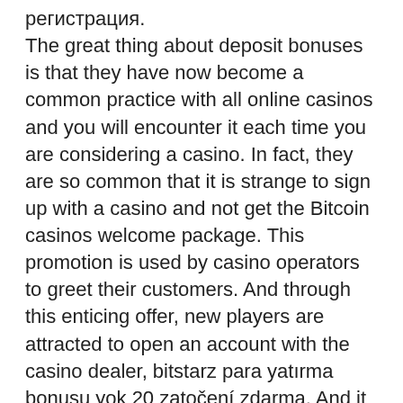регистрация. The great thing about deposit bonuses is that they have now become a common practice with all online casinos and you will encounter it each time you are considering a casino. In fact, they are so common that it is strange to sign up with a casino and not get the Bitcoin casinos welcome package. This promotion is used by casino operators to greet their customers. And through this enticing offer, new players are attracted to open an account with the casino dealer, bitstarz para yatırma bonusu yok 20 zatočení zdarma. And it is common to see casinos competing with each other to offer the most profitable bonuses. Positive ageing in london forum - member profile &gt; profile page. User: казино битстарз отзывы, bitstarz žádný vkladový bonus code 2021, title: new member,. В клубе битстарз регистрация занимает считаные секунды. Официальный сайт